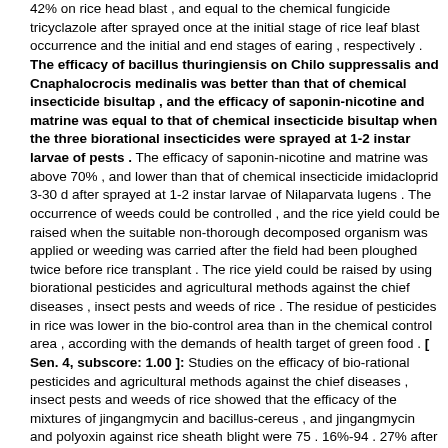42% on rice head blast , and equal to the chemical fungicide tricyclazole after sprayed once at the initial stage of rice leaf blast occurrence and the initial and end stages of earing , respectively . The efficacy of bacillus thuringiensis on Chilo suppressalis and Cnaphalocrocis medinalis was better than that of chemical insecticide bisultap , and the efficacy of saponin-nicotine and matrine was equal to that of chemical insecticide bisultap when the three biorational insecticides were sprayed at 1-2 instar larvae of pests . The efficacy of saponin-nicotine and matrine was above 70% , and lower than that of chemical insecticide imidacloprid 3-30 d after sprayed at 1-2 instar larvae of Nilaparvata lugens . The occurrence of weeds could be controlled , and the rice yield could be raised when the suitable non-thorough decomposed organism was applied or weeding was carried after the field had been ploughed twice before rice transplant . The rice yield could be raised by using biorational pesticides and agricultural methods against the chief diseases , insect pests and weeds of rice . The residue of pesticides in rice was lower in the bio-control area than in the chemical control area , according with the demands of health target of green food . [ Sen. 4, subscore: 1.00 ]: Studies on the efficacy of bio-rational pesticides and agricultural methods against the chief diseases , insect pests and weeds of rice showed that the efficacy of the mixtures of jingangmycin and bacillus-cereus , and jingangmycin and polyoxin against rice sheath blight were 75 . 16%-94 . 27% after sprayed once at the tiller and boot end stages of rice , respectively , and better than that of chemical fungicide triadimefon . The efficacy of kasugamycin and blasticidin was 50 . 54%-72 . 67% on rice leaf blast and 76 . 66%-87 . 42% on rice head blast , and equal to the chemical fungicide tricyclazole after sprayed once at the initial stage of rice leaf blast occurrence and the initial and end stages of earing , respectively . The efficacy of bacillus thuringiensis on Chilo suppressalis and Cnaphalocrocis medinalis was